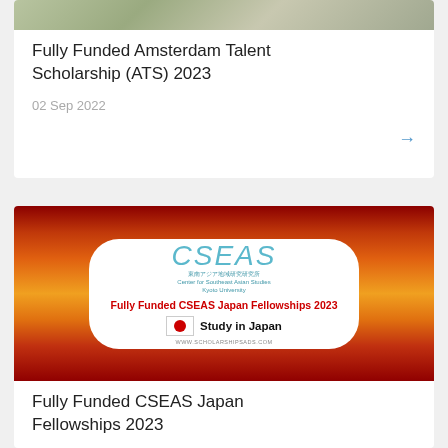[Figure (photo): Top portion of Amsterdam Talent Scholarship card with a landscape/terrain image at the top]
Fully Funded Amsterdam Talent Scholarship (ATS) 2023
02 Sep 2022
[Figure (photo): CSEAS Japan Fellowships promotional image with red/orange fire-like background and a white rounded rectangle containing the CSEAS logo and text 'Fully Funded CSEAS Japan Fellowships 2023' and 'Study in Japan' with Japanese flag icon]
Fully Funded CSEAS Japan Fellowships 2023